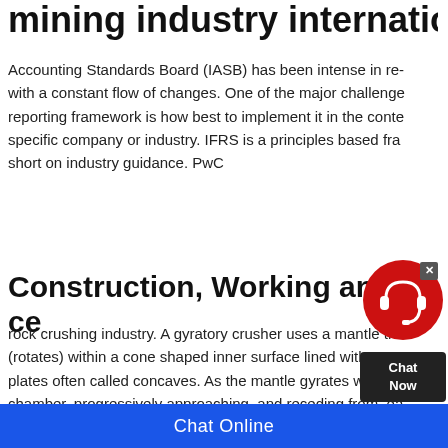mining industry international
Accounting Standards Board (IASB) has been intense in re- with a constant flow of changes. One of the major challenge reporting framework is how best to implement it in the conte specific company or industry. IFRS is a principles based fra short on industry guidance. PwC
Construction, Working and Maintenance
rock crushing industry. A gyratory crusher uses a mantle tha (rotates) within a cone shaped inner surface lined with wea plates often called concaves. As the mantle gyrates within t chamber, progressively approaching, and receding from, ea of the cone shaped inner surface, it creates compressive fo
[Figure (other): Chat widget with red circular headset icon, dark 'Chat Now' box, and close X button]
Chat Online